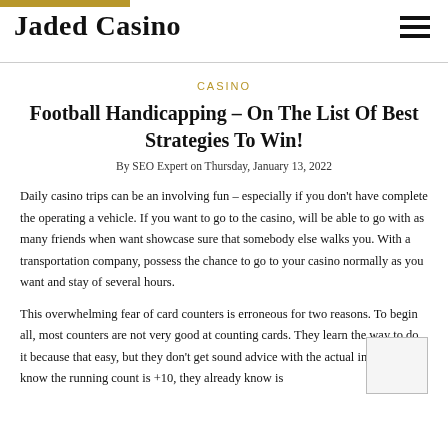Jaded Casino
CASINO
Football Handicapping – On The List Of Best Strategies To Win!
By SEO Expert on Thursday, January 13, 2022
Daily casino trips can be an involving fun – especially if you don't have complete the operating a vehicle. If you want to go to the casino, will be able to go with as many friends when want showcase sure that somebody else walks you. With a transportation company, possess the chance to go to your casino normally as you want and stay of several hours.
This overwhelming fear of card counters is erroneous for two reasons. To begin all, most counters are not very good at counting cards. They learn the way to do it because that easy, but they don't get sound advice with the actual info. If they know the running count is +10, they already know is